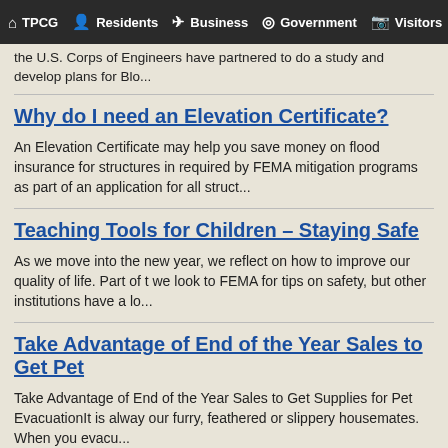TPCG  Residents  Business  Government  Visitors
the U.S. Corps of Engineers have partnered to do a study and develop plans for Blo...
Why do I need an Elevation Certificate?
An Elevation Certificate may help you save money on flood insurance for structures in required by FEMA mitigation programs as part of an application for all struct...
Teaching Tools for Children – Staying Safe
As we move into the new year, we reflect on how to improve our quality of life. Part of t we look to FEMA for tips on safety, but other institutions have a lo...
Take Advantage of End of the Year Sales to Get Pet
Take Advantage of End of the Year Sales to Get Supplies for Pet EvacuationIt is alway our furry, feathered or slippery housemates. When you evacu...
How Levees Work to Protect the Parish
The National Flood Insurance Program has developed a series of educational videos o With the extensive levee system in place in Terrebonne Parish, education a...